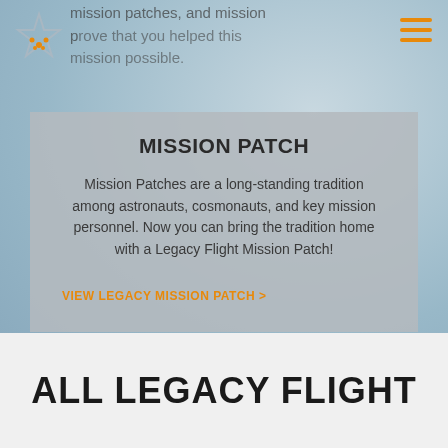[Figure (logo): Star-shaped logo with orange dots, Legacy Flight logo in top left]
mission patches, and mission patches to prove that you helped this mission possible.
MISSION PATCH
Mission Patches are a long-standing tradition among astronauts, cosmonauts, and key mission personnel. Now you can bring the tradition home with a Legacy Flight Mission Patch!
VIEW LEGACY MISSION PATCH >
ALL LEGACY FLIGHT